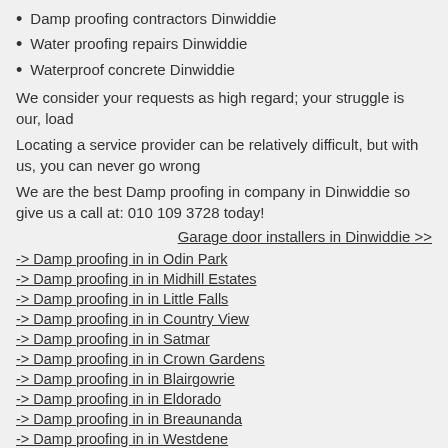Damp proofing contractors Dinwiddie
Water proofing repairs Dinwiddie
Waterproof concrete Dinwiddie
We consider your requests as high regard; your struggle is our, load
Locating a service provider can be relatively difficult, but with us, you can never go wrong
We are the best Damp proofing in company in Dinwiddie so give us a call at: 010 109 3728 today!
Garage door installers in Dinwiddie >>
-> Damp proofing in in Odin Park
-> Damp proofing in in Midhill Estates
-> Damp proofing in in Little Falls
-> Damp proofing in in Country View
-> Damp proofing in in Satmar
-> Damp proofing in in Crown Gardens
-> Damp proofing in in Blairgowrie
-> Damp proofing in in Eldorado
-> Damp proofing in in Breaunanda
-> Damp proofing in in Westdene
-> Damp proofing in in Sandpark
-> Damp proofing in in Robertsham
-> Damp proofing in in Edenhill